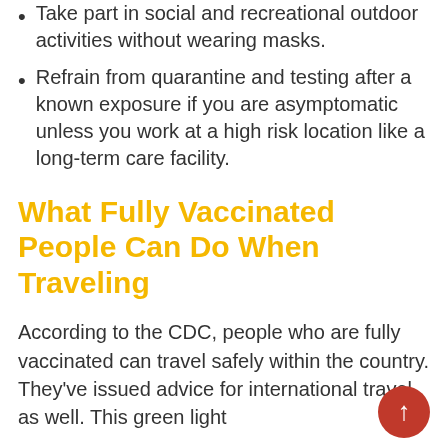Take part in social and recreational outdoor activities without wearing masks.
Refrain from quarantine and testing after a known exposure if you are asymptomatic unless you work at a high risk location like a long-term care facility.
What Fully Vaccinated People Can Do When Traveling
According to the CDC, people who are fully vaccinated can travel safely within the country. They've issued advice for international travel, as well. This green light